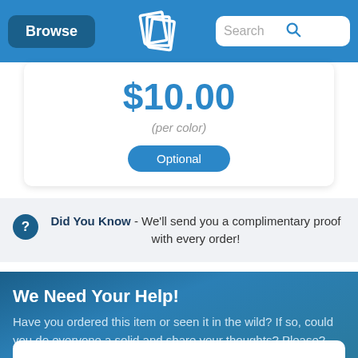Browse | [Logo] | Search
$10.00
(per color)
Optional
Did You Know - We'll send you a complimentary proof with every order!
We Need Your Help!
Have you ordered this item or seen it in the wild? If so, could you do everyone a solid and share your thoughts? Please? Pretty please?